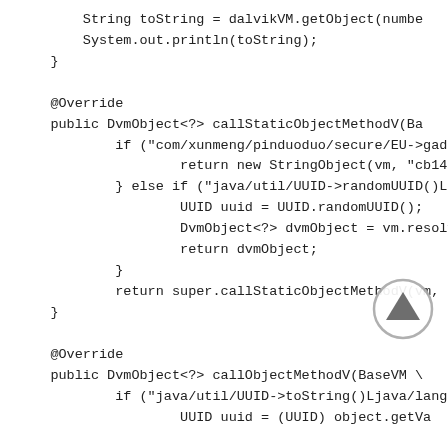String toString = dalvikVM.getObject(numbe
        System.out.println(toString);
    }

    @Override
    public DvmObject<?> callStaticObjectMethodV(Ba
            if ("com/xunmeng/pinduoduo/secure/EU->gad
                    return new StringObject(vm, "cb14a9e7(
            } else if ("java/util/UUID->randomUUID()L:
                    UUID uuid = UUID.randomUUID();
                    DvmObject<?> dvmObject = vm.resolveCla
                    return dvmObject;
            }
            return super.callStaticObjectMethodV(vm,
    }

    @Override
    public DvmObject<?> callObjectMethodV(BaseVM \
            if ("java/util/UUID->toString()Ljava/lang,
                    UUID uuid = (UUID) object.getVa
[Figure (other): A circular scroll-to-top button with an upward arrow icon, overlaid on the code block in the bottom-right area]